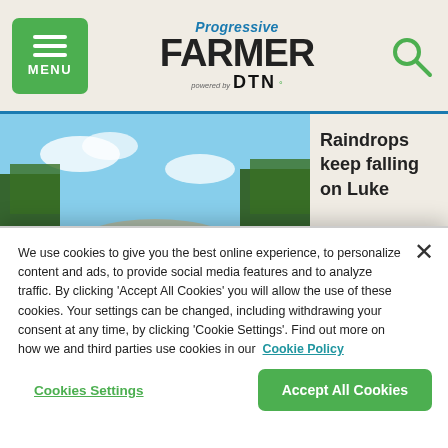Progressive FARMER powered by DTN
[Figure (photo): Aerial/cab view of a green John Deere tractor with wide planting equipment working a large brown field under a blue sky with trees in the background]
Raindrops keep falling on Luke
We use cookies to give you the best online experience, to personalize content and ads, to provide social media features and to analyze traffic. By clicking 'Accept All Cookies' you will allow the use of these cookies. Your settings can be changed, including withdrawing your consent at any time, by clicking 'Cookie Settings'. Find out more on how we and third parties use cookies in our  Cookie Policy
Cookies Settings
Accept All Cookies